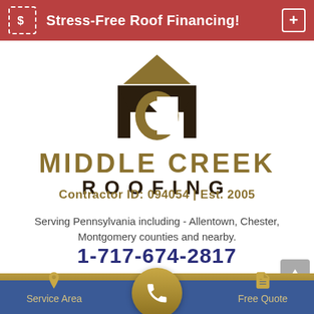Stress-Free Roof Financing!
[Figure (logo): Middle Creek Roofing logo with stylized M and C lettermark and house roofline graphic]
Contractor ID: 094054 | Est. 2005
Serving Pennsylvania including - Allentown, Chester, Montgomery counties and nearby.
1-717-674-2817
Service Area   Free Quote